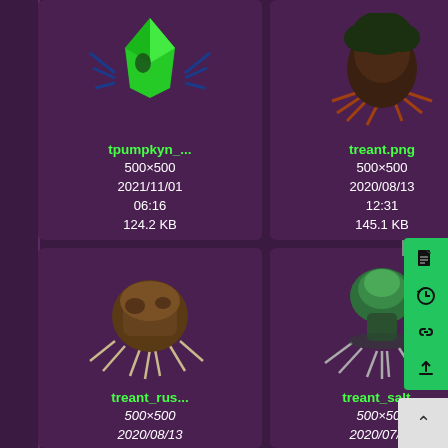[Figure (screenshot): File manager / image browser screenshot showing a grid of image thumbnails (treant/pumpkin 3D character art) on a dark purple background. Each card shows a thumbnail image, filename in green, dimensions, date, time, and file size in white. A context menu (green) is visible on the right side with icons for file info, history, link, and upload. A scroll-to-top button is at the bottom right.]